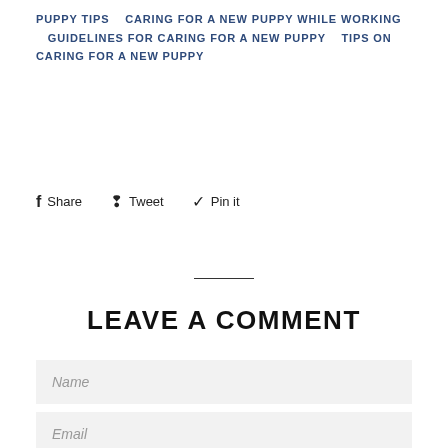PUPPY TIPS   CARING FOR A NEW PUPPY WHILE WORKING   GUIDELINES FOR CARING FOR A NEW PUPPY   TIPS ON CARING FOR A NEW PUPPY
f Share   Tweet   Pin it
—
LEAVE A COMMENT
Name
Email